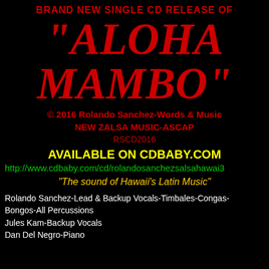BRAND NEW SINGLE CD RELEASE OF
“ALOHA MAMBO”
© 2016 Rolando Sanchez-Words & Music
NEW ZALSA MUSIC-ASCAP
RSCD2016
AVAILABLE ON CDBABY.COM
http://www.cdbaby.com/cd/rolandosanchezsalsahawai3
“The sound of Hawaii’s Latin Music”
Rolando Sanchez-Lead & Backup Vocals-Timbales-Congas-Bongos-All Percussions
Jules Kam-Backup Vocals
Dan Del Negro-Piano